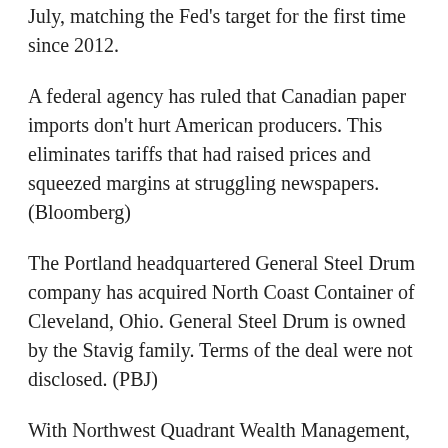July, matching the Fed's target for the first time since 2012.
A federal agency has ruled that Canadian paper imports don't hurt American producers. This eliminates tariffs that had raised prices and squeezed margins at struggling newspapers. (Bloomberg)
The Portland headquartered General Steel Drum company has acquired North Coast Container of Cleveland, Ohio. General Steel Drum is owned by the Stavig family. Terms of the deal were not disclosed. (PBJ)
With Northwest Quadrant Wealth Management, a Registered Investment Advisor I am Troy Reinhart.
Archives:
2022-09 | 2022-08 | 2022-07 | 2022-06 | 2022-05 |